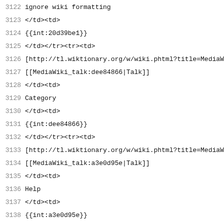3122 ignore wiki formatting
3123 </td><td>
3124 {{int:20d39be1}}
3125 </td></tr><tr><td>
3126 [http://tl.wiktionary.org/w/wiki.phtml?title=MediaWiki:
3127 [[MediaWiki_talk:dee84866|Talk]]
3128 </td><td>
3129 Category
3130 </td><td>
3131 {{int:dee84866}}
3132 </td></tr><tr><td>
3133 [http://tl.wiktionary.org/w/wiki.phtml?title=MediaWiki:
3134 [[MediaWiki_talk:a3e0d95e|Talk]]
3135 </td><td>
3136 Help
3137 </td><td>
3138 {{int:a3e0d95e}}
3139 </td></tr><tr><td>
3140 [http://tl.wiktionary.org/w/wiki.phtml?title=MediaWiki:
3141 [[MediaWiki_talk:911dff1f|Talk]]
3142 </td><td>
3143 Image
3144 </td><td>
3145 {{int:911dff1f}}
3146 </td></tr><tr><td>
3147 [http://tl.wiktionary.org/w/wiki.phtml?title=MediaWiki:
3148 [[MediaWiki_talk:931f9736|Talk]]
3149 </td><td>
3150 Article
3151 </td><td>
3152 {{int:931f9736}}
3153 </td></tr><tr><td>
3154 [http://tl.wiktionary.org/w/wiki.phtml?title=MediaWiki: